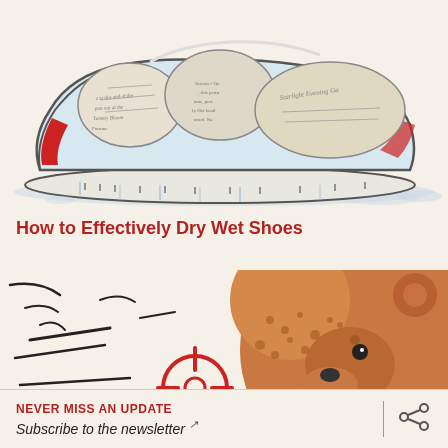[Figure (illustration): Comic/illustration style image of a wet sneaker shoe stuffed with crumpled newspaper pages, sitting in a puddle of water]
How to Effectively Dry Wet Shoes
[Figure (illustration): Comic/pop-art style illustration showing a bear face with crosshair/target symbol in red, with motion lines]
NEVER MISS AN UPDATE Subscribe to the newsletter